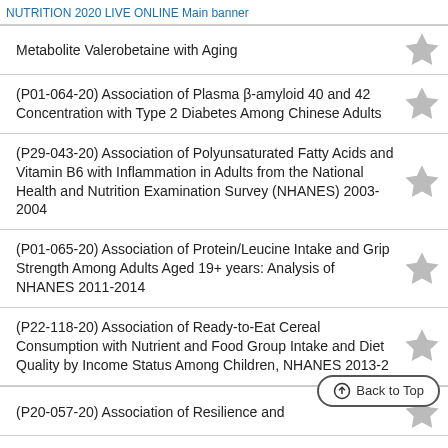NUTRITION 2020 LIVE ONLINE Main banner
Metabolite Valerobetaine with Aging
(P01-064-20) Association of Plasma β-amyloid 40 and 42 Concentration with Type 2 Diabetes Among Chinese Adults
(P29-043-20) Association of Polyunsaturated Fatty Acids and Vitamin B6 with Inflammation in Adults from the National Health and Nutrition Examination Survey (NHANES) 2003-2004
(P01-065-20) Association of Protein/Leucine Intake and Grip Strength Among Adults Aged 19+ years: Analysis of NHANES 2011-2014
(P22-118-20) Association of Ready-to-Eat Cereal Consumption with Nutrient and Food Group Intake and Diet Quality by Income Status Among Children, NHANES 2013-2
(P20-057-20) Association of Resilience and